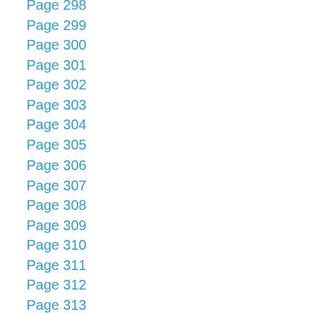Page 298
Page 299
Page 300
Page 301
Page 302
Page 303
Page 304
Page 305
Page 306
Page 307
Page 308
Page 309
Page 310
Page 311
Page 312
Page 313
Page 314
Page 315
Page 316
Page 317